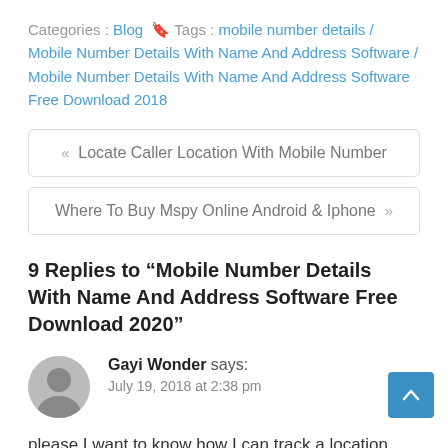Categories : Blog  Tags : mobile number details / Mobile Number Details With Name And Address Software / Mobile Number Details With Name And Address Software Free Download 2018
« Locate Caller Location With Mobile Number
Where To Buy Mspy Online Android & Iphone »
9 Replies to “Mobile Number Details With Name And Address Software Free Download 2020”
Gayi Wonder says:
July 19, 2018 at 2:38 pm
please I want to know how I can track a location